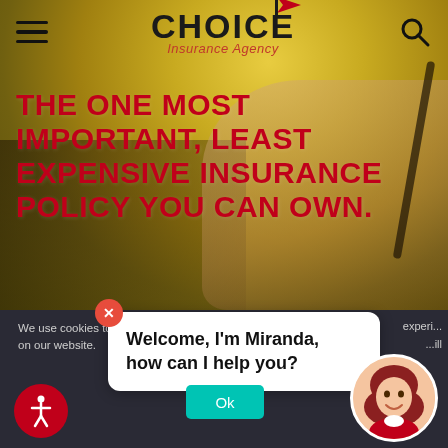[Figure (screenshot): Choice Insurance Agency website screenshot showing hero section with a smiling woman under a yellow umbrella, navigation bar with hamburger menu, logo, and search icon]
THE ONE MOST IMPORTANT, LEAST EXPENSIVE INSURANCE POLICY YOU CAN OWN.
We use cookies to give you the best experience on our website.
Welcome, I'm Miranda, how can I help you?
that you are happy with it.
Ok